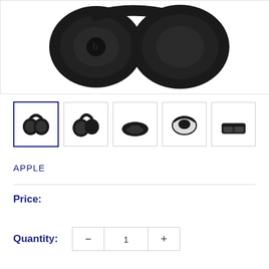[Figure (photo): Large main product image of black over-ear headphones (Beats Studio), shown from back/side angle, black matte finish, on white background]
[Figure (photo): Thumbnail 1 (selected): Black over-ear headphones, front view, selected with dark blue border]
[Figure (photo): Thumbnail 2: Black over-ear headphones, side profile view]
[Figure (photo): Thumbnail 3: Black over-ear headphones, top-down view folded]
[Figure (photo): Thumbnail 4: Black over-ear headphones, front view folded/compact]
[Figure (photo): Thumbnail 5: Black over-ear headphones, bottom/inside view]
APPLE
Price:
Quantity:
1